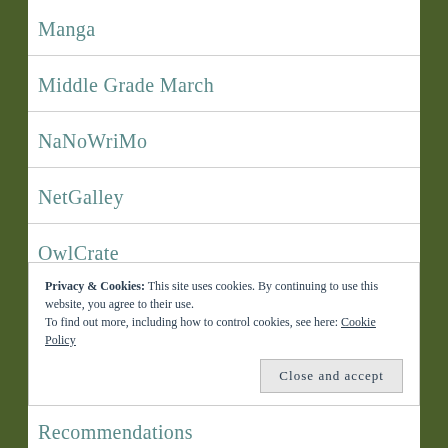Manga
Middle Grade March
NaNoWriMo
NetGalley
OwlCrate
Readalong
Privacy & Cookies: This site uses cookies. By continuing to use this website, you agree to their use.
To find out more, including how to control cookies, see here: Cookie Policy
Close and accept
Recommendations